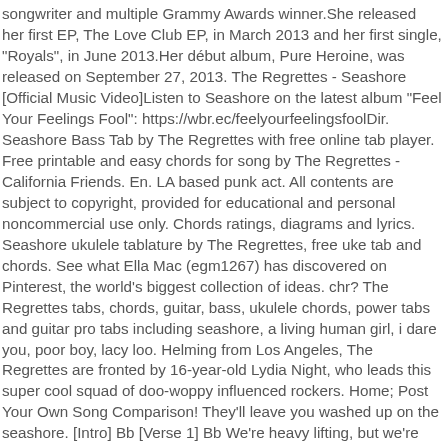songwriter and multiple Grammy Awards winner.She released her first EP, The Love Club EP, in March 2013 and her first single, "Royals", in June 2013.Her début album, Pure Heroine, was released on September 27, 2013. The Regrettes - Seashore [Official Music Video]Listen to Seashore on the latest album "Feel Your Feelings Fool": https://wbr.ec/feelyourfeelingsfoolDir. Seashore Bass Tab by The Regrettes with free online tab player. Free printable and easy chords for song by The Regrettes - California Friends. En. LA based punk act. All contents are subject to copyright, provided for educational and personal noncommercial use only. Chords ratings, diagrams and lyrics. Seashore ukulele tablature by The Regrettes, free uke tab and chords. See what Ella Mac (egm1267) has discovered on Pinterest, the world's biggest collection of ideas. chr? The Regrettes tabs, chords, guitar, bass, ukulele chords, power tabs and guitar pro tabs including seashore, a living human girl, i dare you, poor boy, lacy loo. Helming from Los Angeles, The Regrettes are fronted by 16-year-old Lydia Night, who leads this super cool squad of doo-woppy influenced rockers. Home; Post Your Own Song Comparison! They'll leave you washed up on the seashore. [Intro] Bb [Verse 1] Bb We're heavy lifting, but we're feeling fine Bb We think it's funny when Recommended by The Wall Street Journal Register Login. [G